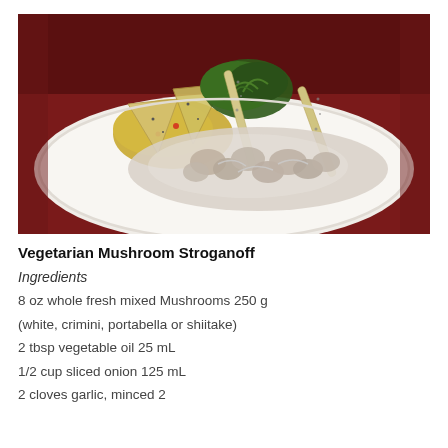[Figure (photo): A plated dish of Vegetarian Mushroom Stroganoff on a white plate: creamy mushroom mixture with breadstick garnishes, yellow rice, fresh herbs/greens, on a dark red table background.]
Vegetarian Mushroom Stroganoff
Ingredients
8 oz whole fresh mixed Mushrooms 250 g
(white, crimini, portabella or shiitake)
2 tbsp vegetable oil 25 mL
1/2 cup sliced onion 125 mL
2 cloves garlic, minced 2